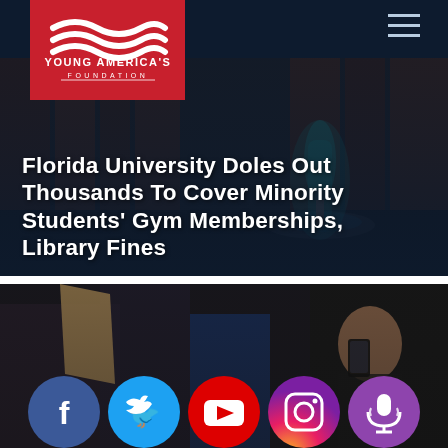Young America's Foundation
[Figure (photo): Dark image of a university campus with a lit fountain in the background, brick buildings, used as hero image backdrop]
Florida University Doles Out Thousands To Cover Minority Students' Gym Memberships, Library Fines
[Figure (photo): Dark image of people at a protest/rally, a woman holding a phone, used as second card backdrop with social media icons overlay]
[Figure (infographic): Social media icon row: Facebook (blue circle), Twitter (cyan circle), YouTube (red circle), Instagram (pink/purple gradient circle), Podcast (purple circle)]